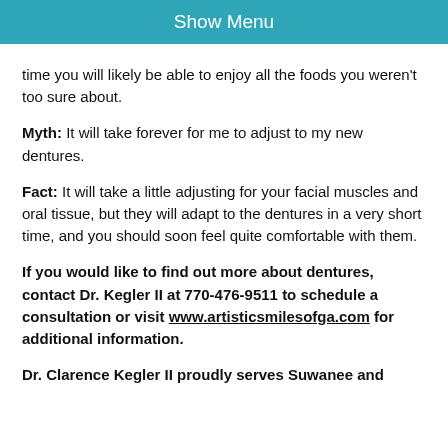Show Menu
time you will likely be able to enjoy all the foods you weren't too sure about.
Myth: It will take forever for me to adjust to my new dentures.
Fact: It will take a little adjusting for your facial muscles and oral tissue, but they will adapt to the dentures in a very short time, and you should soon feel quite comfortable with them.
If you would like to find out more about dentures, contact Dr. Kegler II at 770-476-9511 to schedule a consultation or visit www.artisticsmilesofga.com for additional information.
Dr. Clarence Kegler II proudly serves Suwanee and